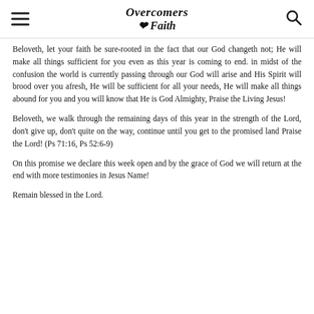Overcomers Faith
Beloveth, let your faith be sure-rooted in the fact that our God changeth not; He will make all things sufficient for you even as this year is coming to end. in midst of the confusion the world is currently passing through our God will arise and His Spirit will brood over you afresh, He will be sufficient for all your needs, He will make all things abound for you and you will know that He is God Almighty, Praise the Living Jesus!
Beloveth, we walk through the remaining days of this year in the strength of the Lord, don't give up, don't quite on the way, continue until you get to the promised land Praise the Lord! (Ps 71:16, Ps 52:6-9)
On this promise we declare this week open and by the grace of God we will return at the end with more testimonies in Jesus Name!
Remain blessed in the Lord.